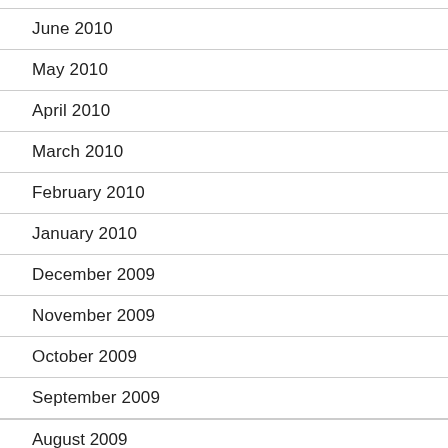June 2010
May 2010
April 2010
March 2010
February 2010
January 2010
December 2009
November 2009
October 2009
September 2009
August 2009